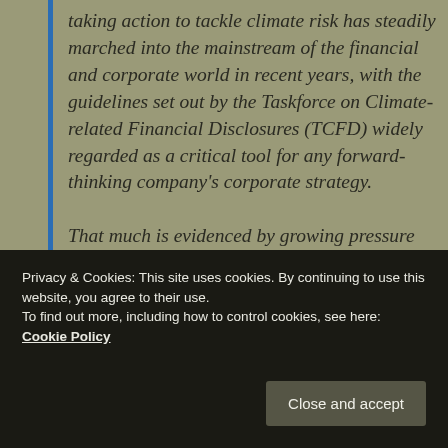taking action to tackle climate risk has steadily marched into the mainstream of the financial and corporate world in recent years, with the guidelines set out by the Taskforce on Climate-related Financial Disclosures (TCFD) widely regarded as a critical tool for any forward-thinking company's corporate strategy. That much is evidenced by growing pressure on boardrooms in the upcoming AGM season to disclose climate threats
Privacy & Cookies: This site uses cookies. By continuing to use this website, you agree to their use. To find out more, including how to control cookies, see here: Cookie Policy
Close and accept